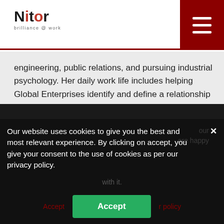Nitor — Brilliance @ work
engineering, public relations, and pursuing industrial psychology. Her daily work life includes helping Global Enterprises identify and define a relationship between Technology & Business Objectives. Over last 3 years she has been associated with Indian Manufacturing industry to study challenges and analyze trends as they walk their path towards digital transformation. When not working she is seen on road exploring country side and creating memories by tasting local cuisine 🙂.
[Figure (other): LinkedIn and email social media icons]
Our website uses cookies to give you the best and most relevant experience. By clicking on accept, you give your consent to the use of cookies as per our privacy policy.